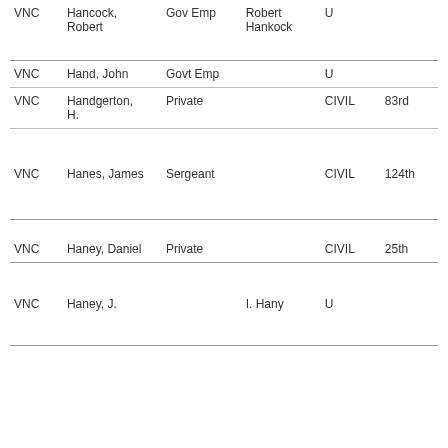|  | Name | Rank | Index Name | Status | Unit |
| --- | --- | --- | --- | --- | --- |
| VNC | Hancock,
Robert | Gov Emp | Robert
Hankock | U |  |
| VNC | Hand, John | Govt Emp |  | U |  |
| VNC | Handgerton,
H. | Private |  | CIVIL | 83rd |
| VNC | Hanes, James | Sergeant |  | CIVIL | 124th |
| VNC | Haney, Daniel | Private |  | CIVIL | 25th |
| VNC | Haney, J. |  | I. Hany | U |  |